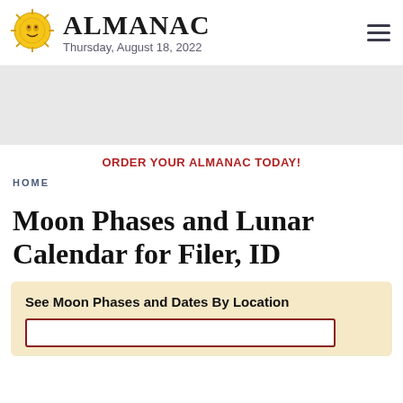ALMANAC — Thursday, August 18, 2022
[Figure (illustration): Almanac sun logo with face]
ORDER YOUR ALMANAC TODAY!
HOME
Moon Phases and Lunar Calendar for Filer, ID
See Moon Phases and Dates By Location